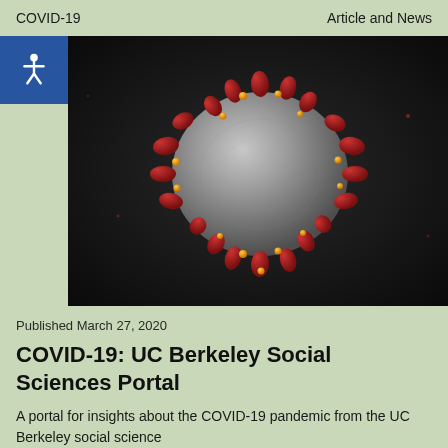COVID-19    Article and News
[Figure (illustration): 3D illustration of a coronavirus (COVID-19) particle — a spherical grey body with red spike proteins and orange-yellow smaller protrusions on a dark background]
Published March 27, 2020
COVID-19: UC Berkeley Social Sciences Portal
A portal for insights about the COVID-19 pandemic from the UC Berkeley social science